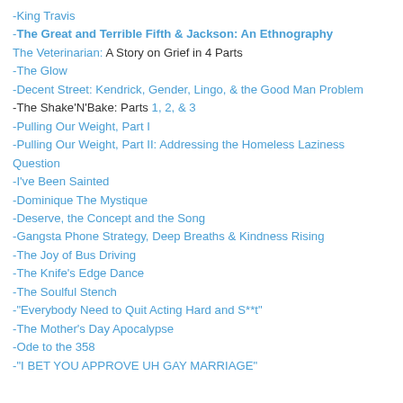-King Travis
-The Great and Terrible Fifth & Jackson: An Ethnography
The Veterinarian: A Story on Grief in 4 Parts
-The Glow
-Decent Street: Kendrick, Gender, Lingo, & the Good Man Problem
-The Shake'N'Bake: Parts 1, 2, & 3
-Pulling Our Weight, Part I
-Pulling Our Weight, Part II: Addressing the Homeless Laziness Question
-I've Been Sainted
-Dominique The Mystique
-Deserve, the Concept and the Song
-Gangsta Phone Strategy, Deep Breaths & Kindness Rising
-The Joy of Bus Driving
-The Knife's Edge Dance
-The Soulful Stench
-"Everybody Need to Quit Acting Hard and S**t"
-The Mother's Day Apocalypse
-Ode to the 358
-"I BET YOU APPROVE UH GAY MARRIAGE"